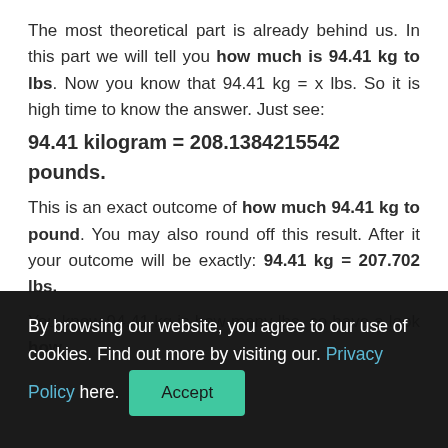The most theoretical part is already behind us. In this part we will tell you how much is 94.41 kg to lbs. Now you know that 94.41 kg = x lbs. So it is high time to know the answer. Just see:
94.41 kilogram = 208.1384215542 pounds.
This is an exact outcome of how much 94.41 kg to pound. You may also round off this result. After it your outcome will be exactly: 94.41 kg = 207.702 lbs.
You know 94.41 kg is how many lbs, so have a look how
By browsing our website, you agree to our use of cookies. Find out more by visiting our. Privacy Policy here. [Accept button]
result. After rounding off your result is exactly: 94.41 lb